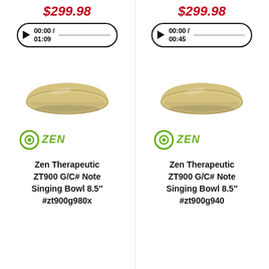$299.98
[Figure (screenshot): Audio player widget showing 00:00 / 01:09 with a play button and progress bar]
[Figure (photo): Golden/brass singing bowl product photo, Zen Therapeutic brand logo below]
Zen Therapeutic ZT900 G/C# Note Singing Bowl 8.5" #zt900g980x
$299.98
[Figure (screenshot): Audio player widget showing 00:00 / 00:45 with a play button and progress bar]
[Figure (photo): Golden/brass singing bowl product photo, Zen Therapeutic brand logo below]
Zen Therapeutic ZT900 G/C# Note Singing Bowl 8.5" #zt900g940